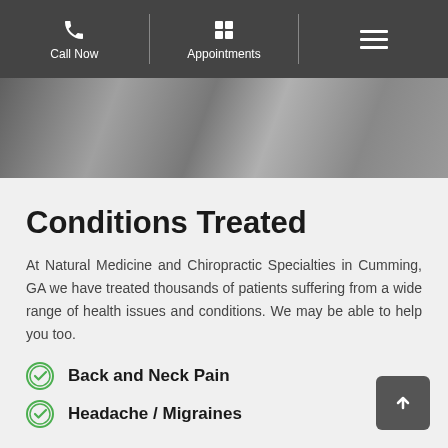Call Now | Appointments | Menu
[Figure (photo): Partial view of a person in black and white, cropped hero image strip]
Conditions Treated
At Natural Medicine and Chiropractic Specialties in Cumming, GA we have treated thousands of patients suffering from a wide range of health issues and conditions. We may be able to help you too.
Back and Neck Pain
Headache / Migraines